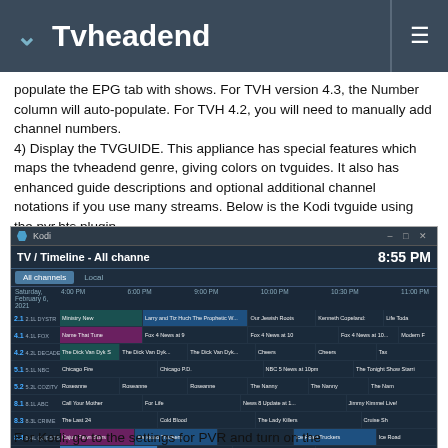Tvheadend
populate the EPG tab with shows. For TVH version 4.3, the Number column will auto-populate. For TVH 4.2, you will need to manually add channel numbers.
4) Display the TVGUIDE. This appliance has special features which maps the tvheadend genre, giving colors on tvguides. It also has enhanced guide descriptions and optional additional channel notations if you use many streams. Below is the Kodi tvguide using the pvr.hts plugin.
[Figure (screenshot): Screenshot of Kodi TV guide / Timeline showing All Channels view at 8:55 PM with channel listings including 2.1 DYSTR, 4.1 FOX, 4.2 DECADES, 5.1 NBC, 5.2 COZITV, 8.1 ABC, 8.3 CRIME, 8.4 QUESTSD, 11.1 CBS, 11.2 STARTTV, with SEAL Team highlighted and info panel showing at bottom]
For Kodi, go to the settings for PVR and turn on the